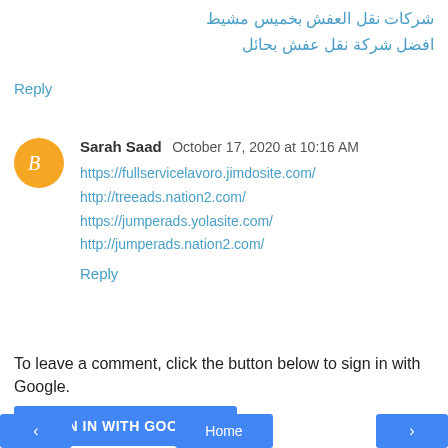شركات نقل العفش بخميس مشيط
افضل شركة نقل عفش بحائل
Reply
Sarah Saad  October 17, 2020 at 10:16 AM
https://fullservicelavoro.jimdosite.com/
http://treeads.nation2.com/
https://jumperads.yolasite.com/
http://jumperads.nation2.com/
Reply
To leave a comment, click the button below to sign in with Google.
SIGN IN WITH GOOGLE
Home